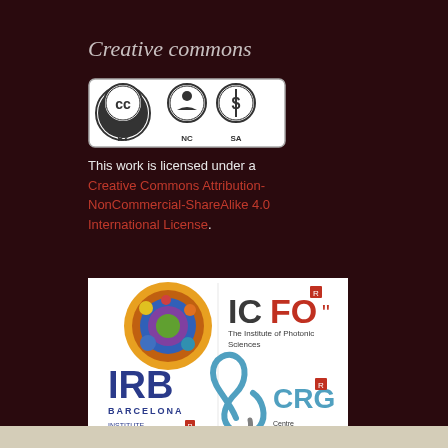Creative commons
[Figure (logo): Creative Commons BY-NC-SA license icon]
This work is licensed under a Creative Commons Attribution-NonCommercial-ShareAlike 4.0 International License.
[Figure (logo): Institutional logos: IRB Barcelona (Institute for Research in Biomedicine), ICFO (The Institute of Photonic Sciences), CRG (Centre for Genomic Regulation)]